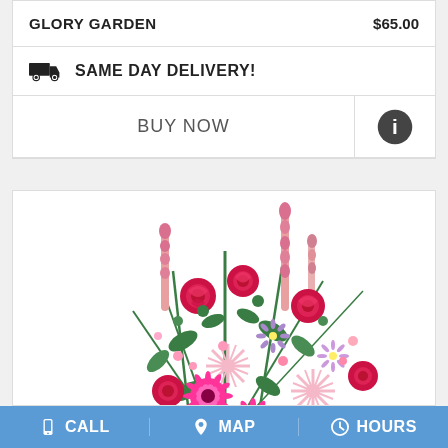GLORY GARDEN   $65.00
SAME DAY DELIVERY!
BUY NOW
[Figure (photo): Flower bouquet arrangement featuring red roses, pink spider mums, hot pink gerbera daisies, pink snapdragons, and purple asters with green foliage on a white background]
CALL   MAP   HOURS